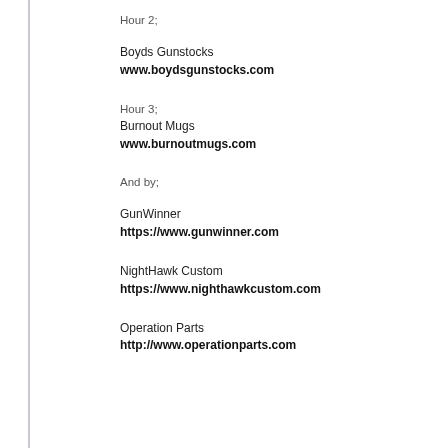Hour 2;
Boyds Gunstocks
www.boydsgunstocks.com
Hour 3;
Burnout Mugs
www.burnoutmugs.com
And by;
GunWinner
https://www.gunwinner.com
NightHawk Custom
https://www.nighthawkcustom.com
Operation Parts
http://www.operationparts.com